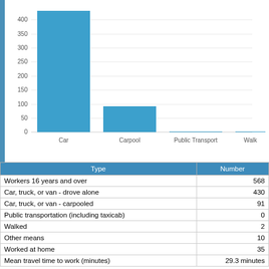[Figure (bar-chart): Commute to Work by Type]
| Type | Number |
| --- | --- |
| Workers 16 years and over | 568 |
| Car, truck, or van - drove alone | 430 |
| Car, truck, or van - carpooled | 91 |
| Public transportation (including taxicab) | 0 |
| Walked | 2 |
| Other means | 10 |
| Worked at home | 35 |
| Mean travel time to work (minutes) | 29.3 minutes |